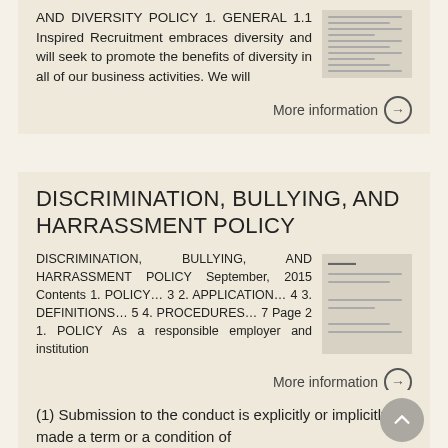AND DIVERSITY POLICY 1. GENERAL 1.1 Inspired Recruitment embraces diversity and will seek to promote the benefits of diversity in all of our business activities. We will
More information →
DISCRIMINATION, BULLYING, AND HARRASSMENT POLICY
DISCRIMINATION, BULLYING, AND HARRASSMENT POLICY September, 2015 Contents 1. POLICY… 3 2. APPLICATION… 4 3. DEFINITIONS… 5 4. PROCEDURES… 7 Page 2 1. POLICY As a responsible employer and institution
More information →
(1) Submission to the conduct is explicitly or implicitly made a term or a condition of